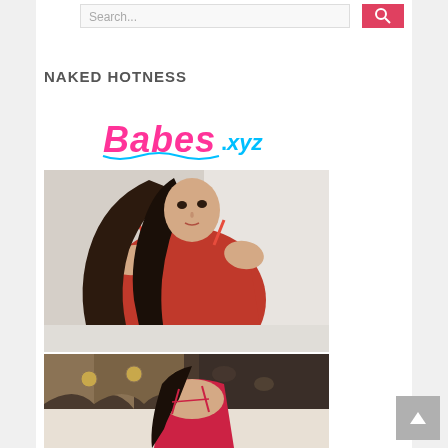Search...
NAKED HOTNESS
[Figure (logo): Babes.xyz logo in pink and blue retro font]
[Figure (photo): Woman with long dark hair wearing a red satin dress, leaning forward]
[Figure (photo): Woman in red lingerie on a bed with ornate headboard]